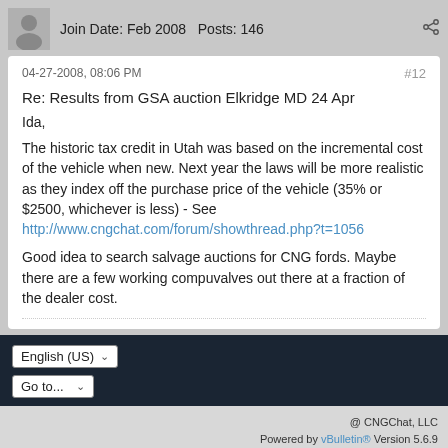Join Date: Feb 2008   Posts: 146
04-27-2008, 08:06 PM   #12
Re: Results from GSA auction Elkridge MD 24 Apr
Ida,

The historic tax credit in Utah was based on the incremental cost of the vehicle when new. Next year the laws will be more realistic as they index off the purchase price of the vehicle (35% or $2500, whichever is less) - See http://www.cngchat.com/forum/showthread.php?t=1056

Good idea to search salvage auctions for CNG fords. Maybe there are a few working compuvalves out there at a fraction of the dealer cost.
@ CNGChat, LLC
Powered by vBulletin® Version 5.6.9
Copyright © 2022 MH Sub I, LLC dba vBulletin. All rights reserved.
All times are GMT-7. This page was generated at 1 minute ago.